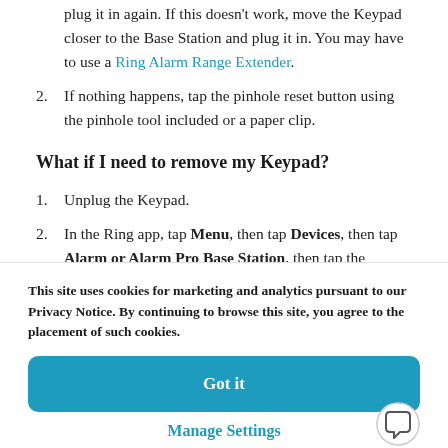plug it in again. If this doesn't work, move the Keypad closer to the Base Station and plug it in. You may have to use a Ring Alarm Range Extender.
If nothing happens, tap the pinhole reset button using the pinhole tool included or a paper clip.
What if I need to remove my Keypad?
Unplug the Keypad.
In the Ring app, tap Menu, then tap Devices, then tap Alarm or Alarm Pro Base Station, then tap the Keypad
This site uses cookies for marketing and analytics pursuant to our Privacy Notice. By continuing to browse this site, you agree to the placement of such cookies.
Got it
Manage Settings